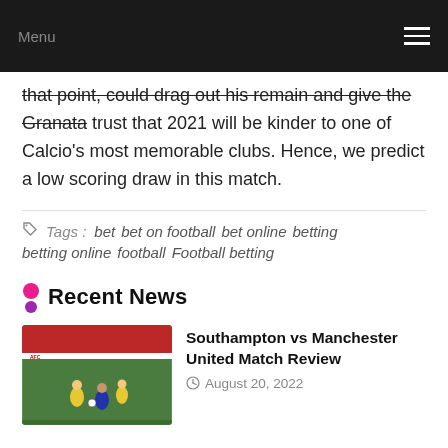Menu
that point, could drag out his remain and give the Granata trust that 2021 will be kinder to one of Calcio's most memorable clubs. Hence, we predict a low scoring draw in this match.
Tags : bet  bet on football  bet online  betting  betting online  football  Football betting
Recent News
[Figure (photo): Soccer match action photo showing players on the field]
Southampton vs Manchester United Match Review
August 20, 2022